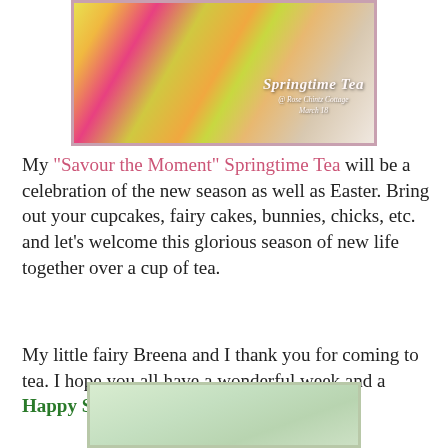[Figure (photo): Springtime Tea promotional image showing tulips and a floral teacup, with text 'Springtime Tea @ Rose Chintz Cottage March 18']
My "Savour the Moment" Springtime Tea will be a celebration of the new season as well as Easter. Bring out your cupcakes, fairy cakes, bunnies, chicks, etc. and let's welcome this glorious season of new life together over a cup of tea.
My little fairy Breena and I thank you for coming to tea. I hope you all have a wonderful week and a Happy St. Parick's Day!
[Figure (photo): Bottom decorative image with green/floral theme]